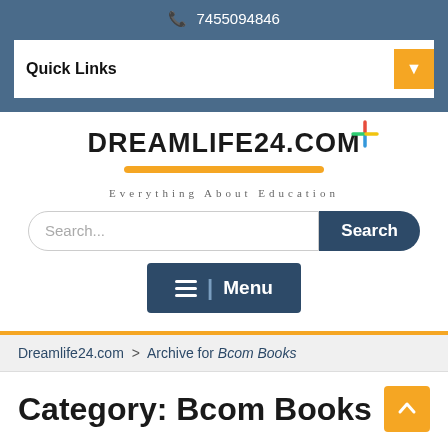7455094846
Quick Links
[Figure (logo): DREAMLIFE24.COM logo with colorful star/asterisk and yellow underline, tagline: Everything About Education]
Search...
Menu
Dreamlife24.com > Archive for Bcom Books
Category: Bcom Books